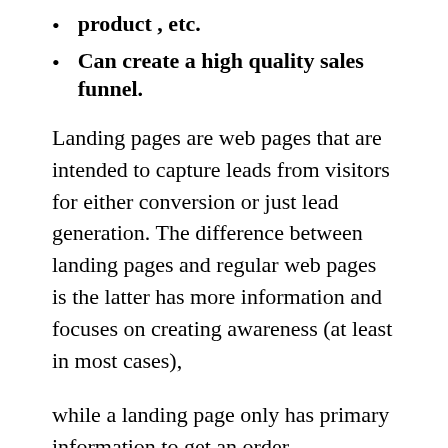product , etc.
Can create a high quality sales funnel.
Landing pages are web pages that are intended to capture leads from visitors for either conversion or just lead generation. The difference between landing pages and regular web pages is the latter has more information and focuses on creating awareness (at least in most cases),
while a landing page only has primary information to get an order, subscription or request from a visitor. A/B testing can be conducted to know which design works best for your audience and your brand.